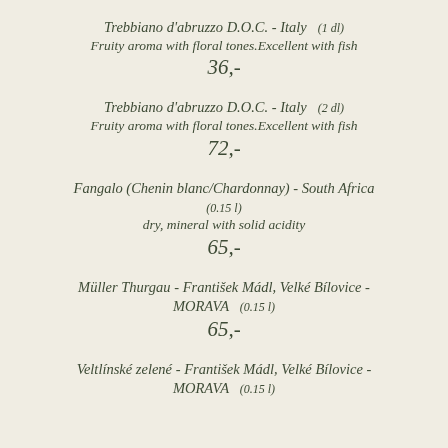Trebbiano d'abruzzo D.O.C. - Italy (1 dl)
Fruity aroma with floral tones.Excellent with fish
36,-
Trebbiano d'abruzzo D.O.C. - Italy (2 dl)
Fruity aroma with floral tones.Excellent with fish
72,-
Fangalo (Chenin blanc/Chardonnay) - South Africa (0.15 l)
dry, mineral with solid acidity
65,-
Müller Thurgau - František Mádl, Velké Bílovice - MORAVA (0.15 l)
65,-
Veltlínské zelené - František Mádl, Velké Bílovice - MORAVA (0.15 l)